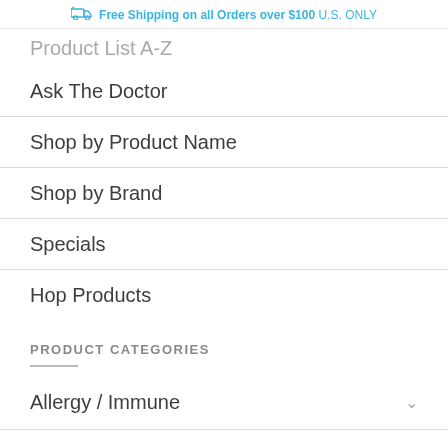Free Shipping on all Orders over $100 U.S. ONLY
Product List A-Z
Ask The Doctor
Shop by Product Name
Shop by Brand
Specials
Hop Products
PRODUCT CATEGORIES
Allergy / Immune
Amino Acids
Antioxidants